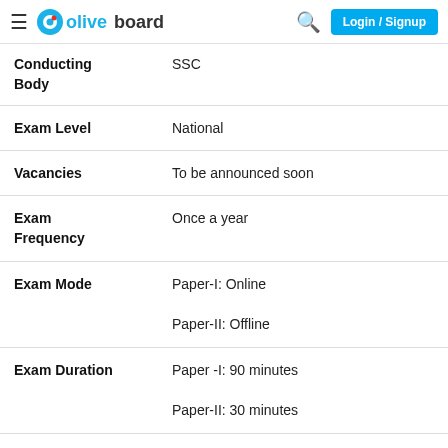oliveboard — Login / Signup
| Field | Value |
| --- | --- |
| Conducting Body | SSC |
| Exam Level | National |
| Vacancies | To be announced soon |
| Exam Frequency | Once a year |
| Exam Mode | Paper-I: Online
Paper-II: Offline |
| Exam Duration | Paper -I: 90 minutes
Paper-II: 30 minutes |
| Exam Purpose | Selecting Group-C non-gazetted, non- |